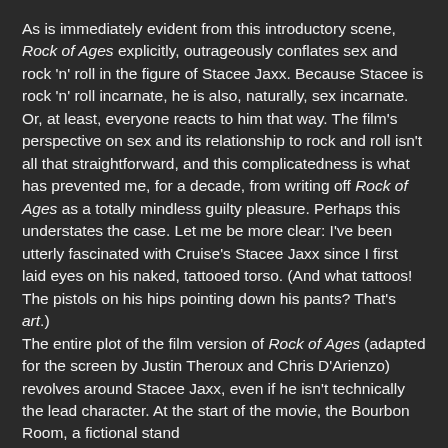As is immediately evident from this introductory scene, Rock of Ages explicitly, outrageously conflates sex and rock 'n' roll in the figure of Stacee Jaxx. Because Stacee is rock 'n' roll incarnate, he is also, naturally, sex incarnate. Or, at least, everyone reacts to him that way. The film's perspective on sex and its relationship to rock and roll isn't all that straightforward, and this complicatedness is what has prevented me, for a decade, from writing off Rock of Ages as a totally mindless guilty pleasure. Perhaps this understates the case. Let me be more clear: I've been utterly fascinated with Cruise's Stacee Jaxx since I first laid eyes on his naked, tattooed torso. (And what tattoos! The pistols on his hips pointing down his pants? That's art.)
The entire plot of the film version of Rock of Ages (adapted for the screen by Justin Theroux and Chris D'Arienzo) revolves around Stacee Jaxx, even if he isn't technically the lead character. At the start of the movie, the Bourbon Room, a fictional stand...